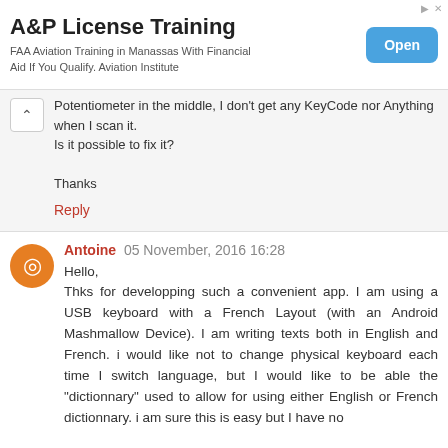[Figure (other): Advertisement banner for A&P License Training. Title: 'A&P License Training'. Subtitle: 'FAA Aviation Training in Manassas With Financial Aid If You Qualify. Aviation Institute'. Blue 'Open' button on the right.]
Potentiometer in the middle, I don't get any KeyCode nor Anything when I scan it.
Is it possible to fix it?

Thanks
Reply
Antoine 05 November, 2016 16:28
Hello,
Thks for developping such a convenient app. I am using a USB keyboard with a French Layout (with an Android Mashmallow Device). I am writing texts both in English and French. i would like not to change physical keyboard each time I switch language, but I would like to be able the "dictionnary" used to allow for using either English or French dictionnary. i am sure this is easy but I have no